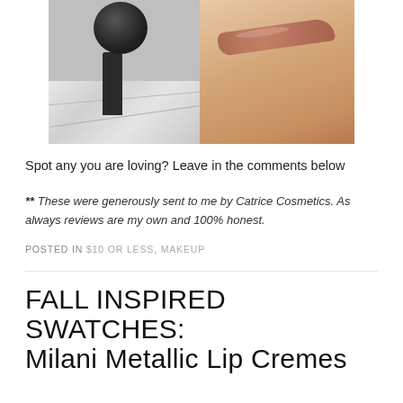[Figure (photo): Split photo: left half shows dark cosmetic tubes/lipstick on marble surface; right half shows a metallic rose-brown lipstick swatch on skin.]
Spot any you are loving? Leave in the comments below
** These were generously sent to me by Catrice Cosmetics. As always reviews are my own and 100% honest.
POSTED IN $10 OR LESS, MAKEUP
FALL INSPIRED SWATCHES: Milani Metallic Lip Cremes